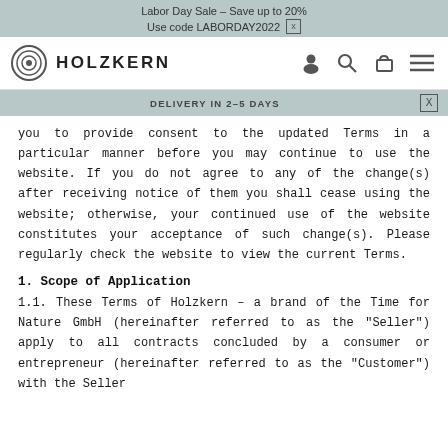Labor Day Sale - Save up to 20%
Use code LABORDAY2022 [x]
[Figure (logo): Holzkern logo with concentric circle icon and brand name, plus navigation icons (user, search, cart, menu)]
DELIVERY IN 2-5 DAYS
you to provide consent to the updated Terms in a particular manner before you may continue to use the website. If you do not agree to any of the change(s) after receiving notice of them you shall cease using the website; otherwise, your continued use of the website constitutes your acceptance of such change(s). Please regularly check the website to view the current Terms.
1. Scope of Application
1.1. These Terms of Holzkern - a brand of the Time for Nature GmbH (hereinafter referred to as the "Seller") apply to all contracts concluded by a consumer or entrepreneur (hereinafter referred to as the "Customer") with the Seller